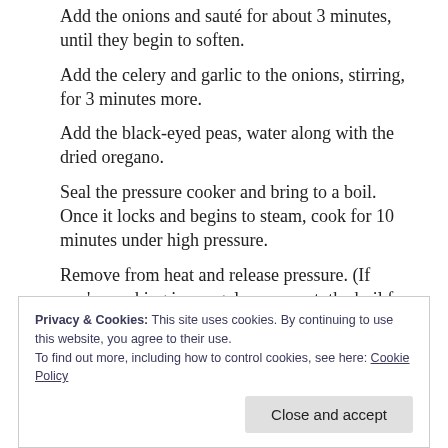Add the onions and sauté for about 3 minutes, until they begin to soften.
Add the celery and garlic to the onions, stirring, for 3 minutes more.
Add the black-eyed peas, water along with the dried oregano.
Seal the pressure cooker and bring to a boil. Once it locks and begins to steam, cook for 10 minutes under high pressure.
Remove from heat and release pressure. (If you're cooking in a regular soup pot, the boil for about 50 or until the peas are tender.
Privacy & Cookies: This site uses cookies. By continuing to use this website, you agree to their use.
To find out more, including how to control cookies, see here: Cookie Policy
Close and accept
…at about 15 minutes…